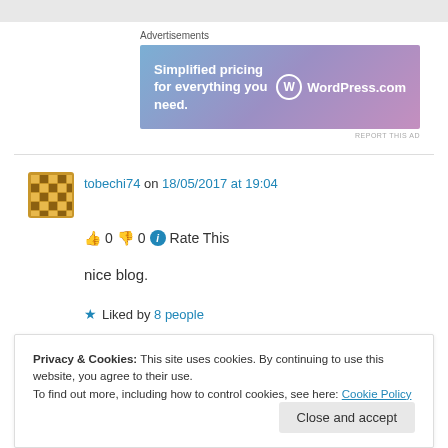Advertisements
[Figure (screenshot): WordPress.com advertisement banner: 'Simplified pricing for everything you need.' with WordPress.com logo on blue-purple gradient background]
REPORT THIS AD
tobechi74 on 18/05/2017 at 19:04
👍 0 👎 0 ℹ Rate This
nice blog.
★ Liked by 8 people
Privacy & Cookies: This site uses cookies. By continuing to use this website, you agree to their use.
To find out more, including how to control cookies, see here: Cookie Policy
Close and accept